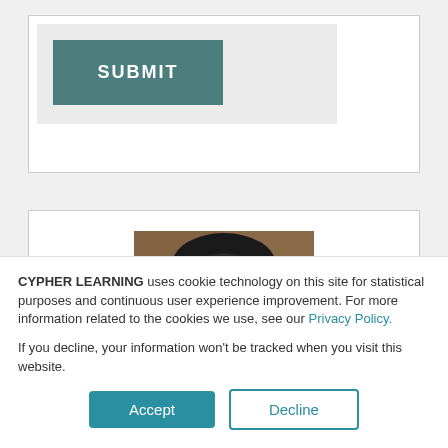[Figure (screenshot): A teal/grey SUBMIT button on a light grey background inside a white card]
[Figure (photo): Portrait photo of a young South Asian man with dark hair, wearing a white shirt, smiling]
CYPHER LEARNING uses cookie technology on this site for statistical purposes and continuous user experience improvement. For more information related to the cookies we use, see our Privacy Policy.
If you decline, your information won't be tracked when you visit this website.
Accept
Decline